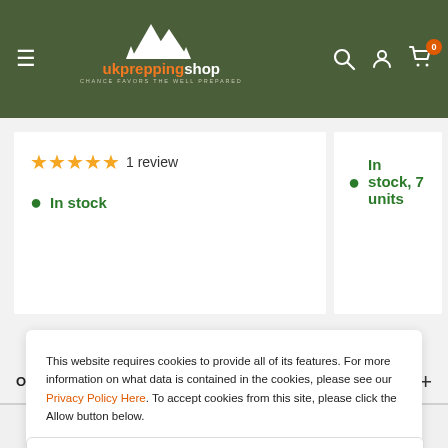ukpreppingshop – CHANCE FAVORS THE WELL PREPARED
★★★★★ 1 review
● In stock
● In stock, 7 units
OUR SHOP
This website requires cookies to provide all of its features. For more information on what data is contained in the cookies, please see our Privacy Policy Here. To accept cookies from this site, please click the Allow button below.
Accept